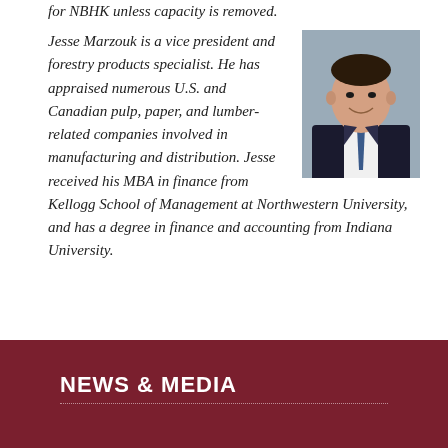for NBHK unless capacity is removed.
Jesse Marzouk is a vice president and forestry products specialist. He has appraised numerous U.S. and Canadian pulp, paper, and lumber-related companies involved in manufacturing and distribution. Jesse received his MBA in finance from Kellogg School of Management at Northwestern University, and has a degree in finance and accounting from Indiana University.
[Figure (photo): Professional headshot of Jesse Marzouk, a man in a dark suit and tie, smiling, against a grey background.]
NEWS & MEDIA